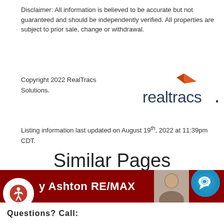Disclaimer: All information is believed to be accurate but not guaranteed and should be independently verified. All properties are subject to prior sale, change or withdrawal.
Copyright 2022 RealTracs Solutions.
[Figure (logo): RealTracs Solutions logo with orange arrow and dark blue text]
Listing information last updated on August 19th, 2022 at 11:39pm CDT.
Similar Pages
Courtside at Southern Woods | Cloverland Estates | Williams Grove | Forest Hills | Brentwood Office Location |
[Figure (screenshot): Bottom banner with accessibility icon, 'y Ashton RE/MAX' text, agent photo, chat icon, and 'Questions? Call:' text]